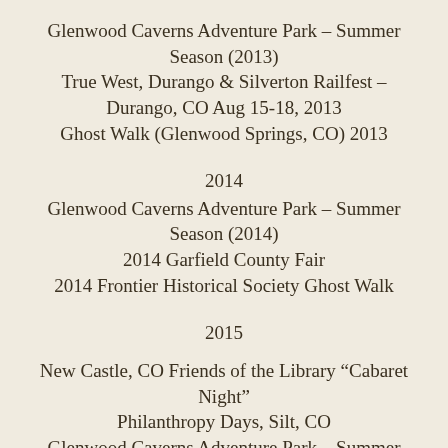Glenwood Caverns Adventure Park – Summer Season (2013)
True West, Durango & Silverton Railfest – Durango, CO Aug 15-18, 2013
Ghost Walk (Glenwood Springs, CO) 2013
2014
Glenwood Caverns Adventure Park – Summer Season (2014)
2014 Garfield County Fair
2014 Frontier Historical Society Ghost Walk
2015
New Castle, CO Friends of the Library “Cabaret Night”
Philanthropy Days, Silt, CO
Glenwood Caverns Adventure Park – Summer Season (2015)
2015 Frontier Historical Society Ghost Walk
2016